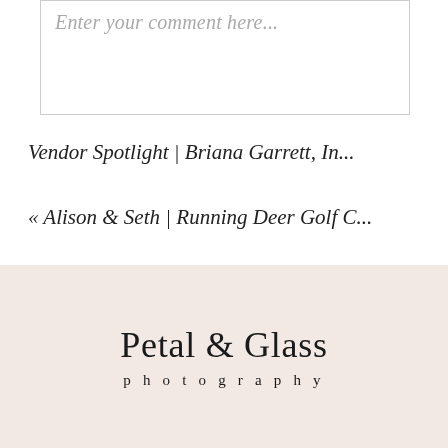Enter your comment here...
Vendor Spotlight | Briana Garrett, In...
« Alison & Seth | Running Deer Golf C...
Petal & Glass photography